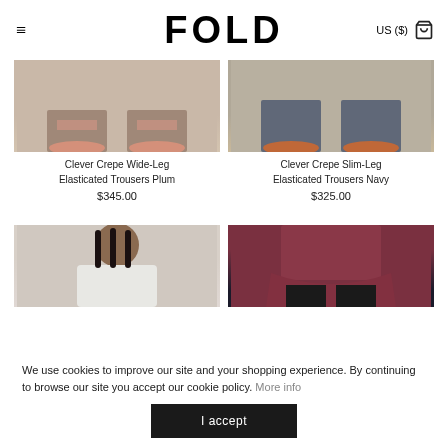≡  FOLD  US ($) 🛍
[Figure (photo): Bottom of trousers and heels on floor - Clever Crepe Wide-Leg Elasticated Trousers Plum product shot]
[Figure (photo): Bottom of trousers with orange heels - Clever Crepe Slim-Leg Elasticated Trousers Navy product shot]
Clever Crepe Wide-Leg Elasticated Trousers Plum
$345.00
Clever Crepe Slim-Leg Elasticated Trousers Navy
$325.00
[Figure (photo): Female model with braids wearing white jacket - product shot]
[Figure (photo): Female model wearing burgundy peplum top with black trousers - product shot]
We use cookies to improve our site and your shopping experience. By continuing to browse our site you accept our cookie policy.  More info
I accept